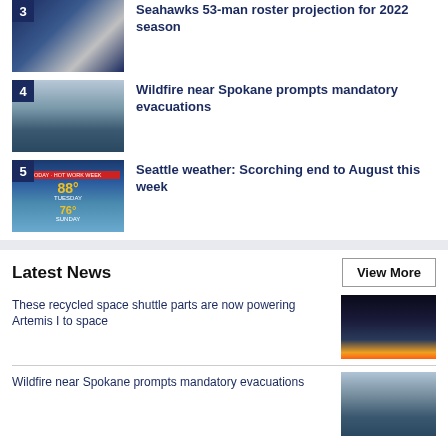3 Seahawks 53-man roster projection for 2022 season
4 Wildfire near Spokane prompts mandatory evacuations
5 Seattle weather: Scorching end to August this week
Latest News
View More
These recycled space shuttle parts are now powering Artemis I to space
Wildfire near Spokane prompts mandatory evacuations